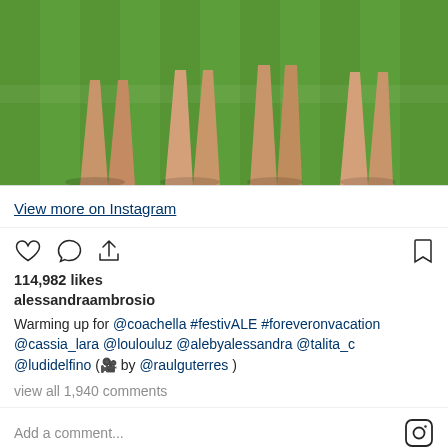[Figure (photo): Instagram post photo showing legs of multiple people standing on green grass in sunlight]
View more on Instagram
114,982 likes
alessandraambrosio
Warming up for @coachella #festivALE #foreveronvacation @cassia_lara @loulouluz @alebyalessandra @talita_c @ludidelfino (🎥 by @raulguterres )
view all 1,940 comments
Add a comment...
Stay in the loop
SUBSCRIBE